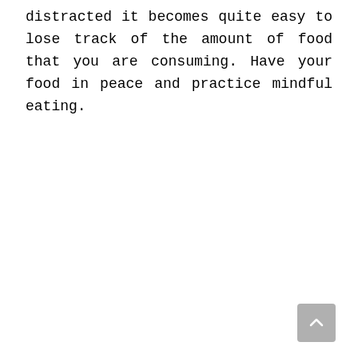distracted it becomes quite easy to lose track of the amount of food that you are consuming. Have your food in peace and practice mindful eating.